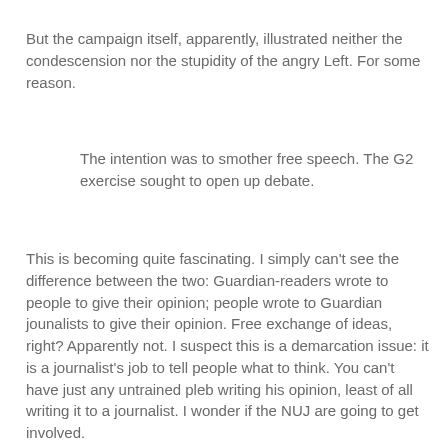But the campaign itself, apparently, illustrated neither the condescension nor the stupidity of the angry Left. For some reason.
The intention was to smother free speech. The G2 exercise sought to open up debate.
This is becoming quite fascinating. I simply can't see the difference between the two: Guardian-readers wrote to people to give their opinion; people wrote to Guardian jounalists to give their opinion. Free exchange of ideas, right? Apparently not. I suspect this is a demarcation issue: it is a journalist's job to tell people what to think. You can't have just any untrained pleb writing his opinion, least of all writing it to a journalist. I wonder if the NUJ are going to get involved.